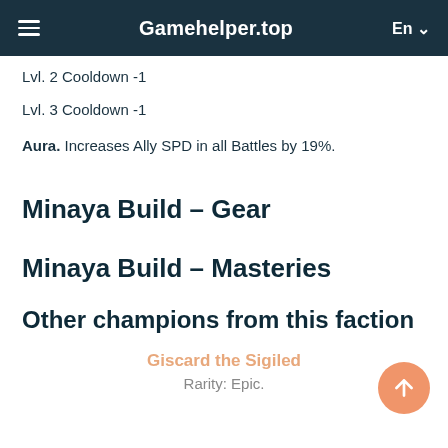Gamehelder.top  En
Lvl. 2 Cooldown -1
Lvl. 3 Cooldown -1
Aura. Increases Ally SPD in all Battles by 19%.
Minaya Build – Gear
Minaya Build – Masteries
Other champions from this faction
Giscard the Sigiled
Rarity: Epic.